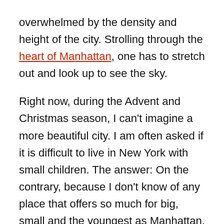overwhelmed by the density and height of the city. Strolling through the heart of Manhattan, one has to stretch out and look up to see the sky.
Right now, during the Advent and Christmas season, I can't imagine a more beautiful city. I am often asked if it is difficult to live in New York with small children. The answer: On the contrary, because I don't know of any place that offers so much for big, small and the youngest as Manhattan. New York is not only the city that never sleeps – with all the shops, restaurants and Broadway shows – it is also the city with more than 1000 parks! So it's up to you which side of New York you want to get to know the most.